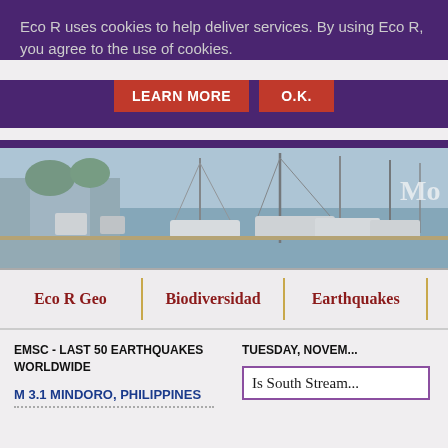Eco R uses cookies to help deliver services. By using Eco R, you agree to the use of cookies.
[Figure (screenshot): Two buttons: LEARN MORE and O.K. on cookie banner]
[Figure (photo): Marina with sailboats and yachts, partially visible text 'Mo' on right]
Eco R Geo | Biodiversidad | Earthquakes
EMSC - LAST 50 EARTHQUAKES WORLDWIDE
M 3.1 MINDORO, PHILIPPINES
TUESDAY, NOVEM...
Is South Stream...